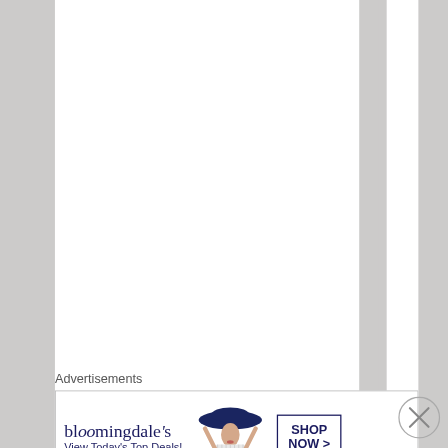down. I went on to VV and the owners threw
Advertisements
[Figure (illustration): Bloomingdale's advertisement banner showing logo, 'View Today's Top Deals!' text, a woman in a wide-brim hat, and a 'SHOP NOW >' button]